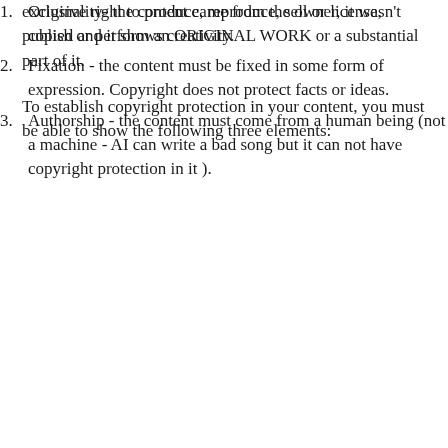exclusive right to produce, reproduce, sell or license, publish or perform an ORIGINAL WORK or a substantial part of it.
To establish copyright protection in your content, you must be able to show the following three elements:
Originality- the content came from the owner, it wasn't copied and it shows creativity.
Fixation - the content must be fixed in some form of expression. Copyright does not protect facts or ideas.
Authorship - the content must come from a human being (not a machine - AI can write a bad song but it can not have copyright protection in it ).